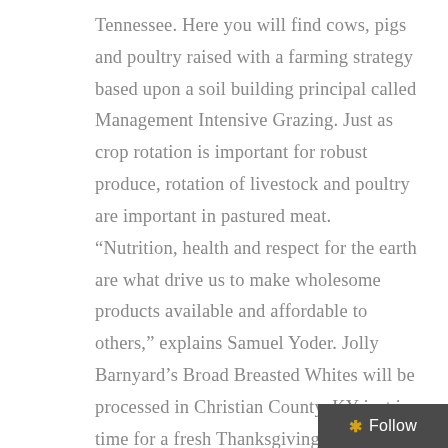Tennessee. Here you will find cows, pigs and poultry raised with a farming strategy based upon a soil building principal called Management Intensive Grazing. Just as crop rotation is important for robust produce, rotation of livestock and poultry are important in pastured meat. “Nutrition, health and respect for the earth are what drive us to make wholesome products available and affordable to others,” explains Samuel Yoder. Jolly Barnyard’s Broad Breasted Whites will be processed in Christian County, KY just in time for a fresh Thanksgiving turkey. Please email jollybarnyard@gmail.com or call 615-746-5208 to reserve your turkey. Porter Road Butcher will also have a limited supply of fre